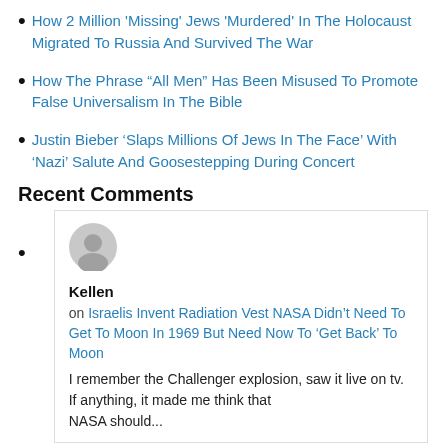How 2 Million 'Missing' Jews 'Murdered' In The Holocaust Migrated To Russia And Survived The War
How The Phrase “All Men” Has Been Misused To Promote False Universalism In The Bible
Justin Bieber ‘Slaps Millions Of Jews In The Face’ With ‘Nazi’ Salute And Goosestepping During Concert
Recent Comments
[Figure (illustration): Gray default avatar/user icon silhouette in a circle]
Kellen
on Israelis Invent Radiation Vest NASA Didn’t Need To Get To Moon In 1969 But Need Now To ‘Get Back’ To Moon
I remember the Challenger explosion, saw it live on tv. If anything, it made me think that NASA should...